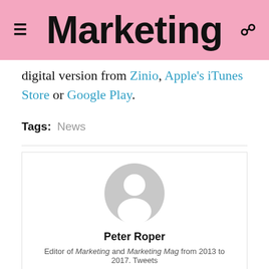Marketing
digital version from Zinio, Apple's iTunes Store or Google Play.
Tags: News
[Figure (illustration): Generic user avatar placeholder — grey circle with white person silhouette]
Peter Roper
Editor of Marketing and Marketing Mag from 2013 to 2017. Tweets